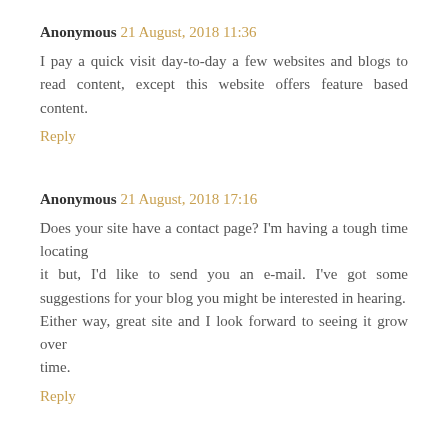Anonymous 21 August, 2018 11:36
I pay a quick visit day-to-day a few websites and blogs to read content, except this website offers feature based content.
Reply
Anonymous 21 August, 2018 17:16
Does your site have a contact page? I'm having a tough time locating it but, I'd like to send you an e-mail. I've got some suggestions for your blog you might be interested in hearing.
Either way, great site and I look forward to seeing it grow over time.
Reply
Anonymous 22 August, 2018 06:21
Thank you for the good writeup. It in fact was a amusement account it.